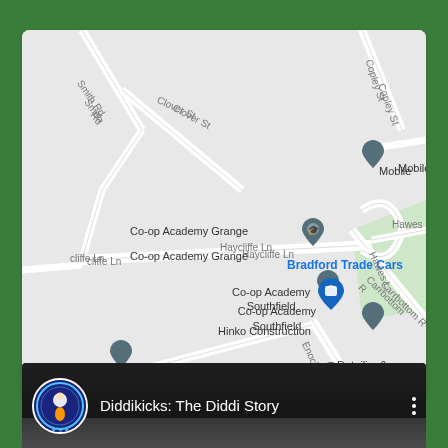[Figure (map): Google Maps view showing Bradford area with Co-op Academy Grange, Co-op Academy Southfield, Bradford Trade Cars, Hinko Construction, Detailing & Mobile Va labels, and street names including Smith Rd, Clover St, Copley St, Haycliffe Ln, Hawes, Carrbottom R, Enoch's Rd. Blue highlighted business: Bradford Trade Cars.]
[Figure (screenshot): YouTube video bar showing 'Diddikicks: The Diddi Story' with circular logo icon and three-dot menu button on dark background.]